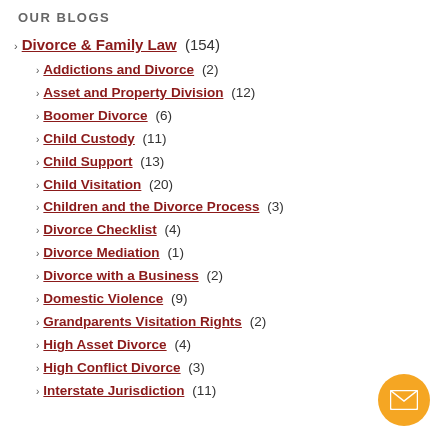OUR BLOGS
Divorce & Family Law (154)
Addictions and Divorce (2)
Asset and Property Division (12)
Boomer Divorce (6)
Child Custody (11)
Child Support (13)
Child Visitation (20)
Children and the Divorce Process (3)
Divorce Checklist (4)
Divorce Mediation (1)
Divorce with a Business (2)
Domestic Violence (9)
Grandparents Visitation Rights (2)
High Asset Divorce (4)
High Conflict Divorce (3)
Interstate Jurisdiction (11)